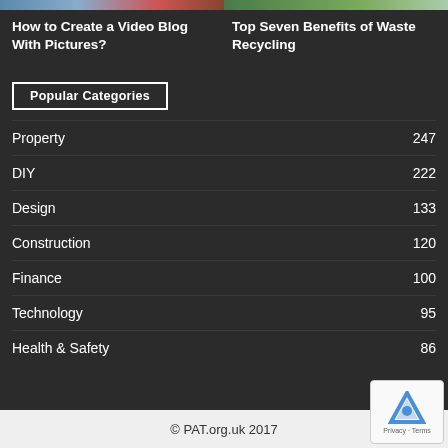[Figure (photo): Cropped image banner left side - video/people photo]
[Figure (photo): Cropped image banner right side - green/nature photo]
How to Create a Video Blog With Pictures?
Top Seven Benefits of Waste Recycling
Popular Categories
Property  247
DIY  222
Design  133
Construction  120
Finance  100
Technology  95
Health & Safety  86
© PAT.org.uk 2017